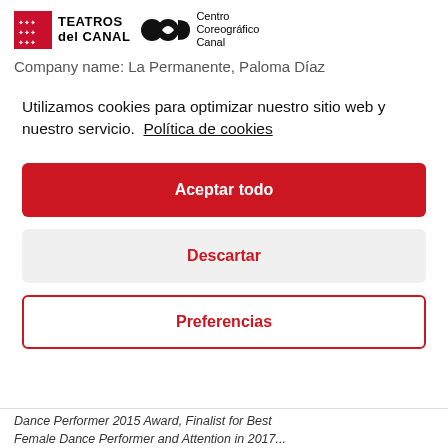[Figure (logo): Teatros del Canal logo with red Madrid star badge and text 'TEATROS del CANAL', alongside Centro Coreográfico Canal logo with circular icon]
Company name: La Permanente, Paloma Díaz
Utilizamos cookies para optimizar nuestro sitio web y nuestro servicio.  Política de cookies
Aceptar todo
Descartar
Preferencias
Dance Performer 2015 Award, Finalist for Best Female Dance Performer and Attention in 2017